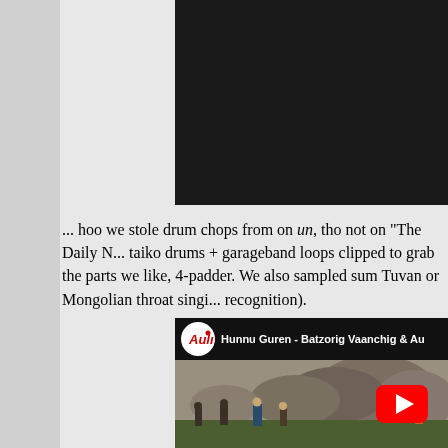[Figure (screenshot): Dark background area at top right, representing top portion of a webpage or embedded video player]
... hoo we stole drum chops from on un, tho not on "The Daily N... taiko drums + garageband loops clipped to grab the parts we like, 4-padder. We also sampled sum Tuvan or Mongolian throat singing recognition).
[Figure (screenshot): YouTube video embed showing 'Hunnu Guren - Batzorig Vaanchig & Au...' with Auli logo, people standing outdoors near large rocks, YouTube play button overlay]